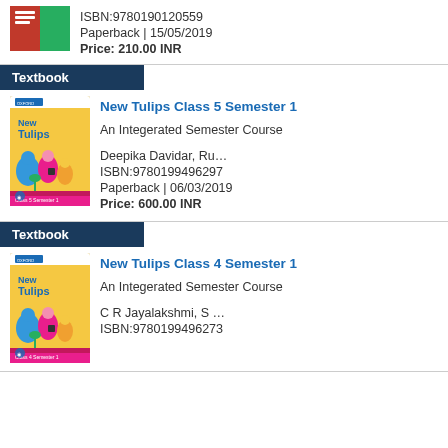[Figure (photo): Book cover image at top of page (partial, cropped)]
ISBN:9780190120559
Paperback | 15/05/2019
Price: 210.00 INR
Textbook
[Figure (photo): New Tulips Class 5 Semester 1 book cover with colorful characters]
New Tulips Class 5 Semester 1
An Integerated Semester Course
Deepika Davidar, Ru…
ISBN:9780199496297
Paperback | 06/03/2019
Price: 600.00 INR
Textbook
[Figure (photo): New Tulips Class 4 Semester 1 book cover with colorful characters]
New Tulips Class 4 Semester 1
An Integerated Semester Course
C R Jayalakshmi, S …
ISBN:9780199496273